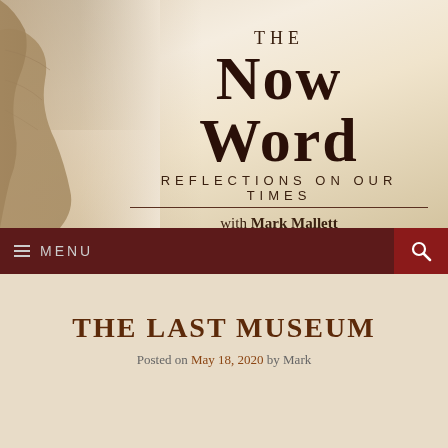[Figure (illustration): Header banner for 'The Now Word' website with sepia-toned rocky cliff on the left and text overlay. Title reads 'THE NOW WORD - REFLECTIONS ON OUR TIMES with Mark Mallett'.]
THE NOW WORD
REFLECTIONS ON OUR TIMES
with Mark Mallett
MENU
THE LAST MUSEUM
Posted on May 18, 2020 by Mark
[Figure (photo): Dark atmospheric photo showing a cross or similar vertical structure against a dark blue/indigo background]